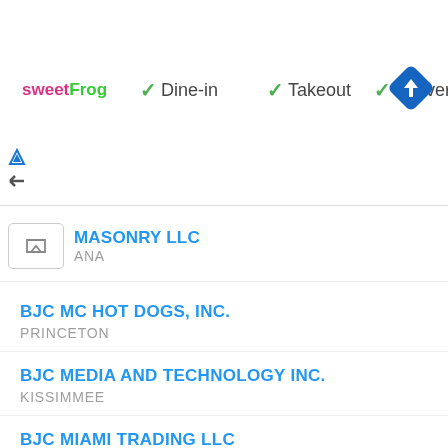[Figure (screenshot): sweetFrog logo with Dine-in, Takeout, Delivery checkmarks and navigation icon ad banner]
MASONRY LLC / ANA (partial, truncated)
BJC MC HOT DOGS, INC.
PRINCETON
BJC MEDIA AND TECHNOLOGY INC.
KISSIMMEE
BJC MIAMI TRADING LLC
PLANTATION
BJC OF SRQ, LLC
SARASOTA
BJC OF TAMPA BAY, INC.
CLEARWATER